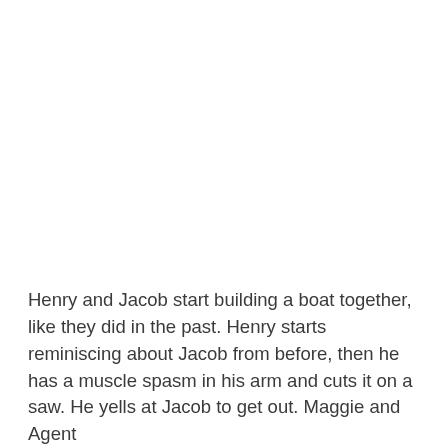Henry and Jacob start building a boat together, like they did in the past. Henry starts reminiscing about Jacob from before, then he has a muscle spasm in his arm and cuts it on a saw. He yells at Jacob to get out. Maggie and Agent